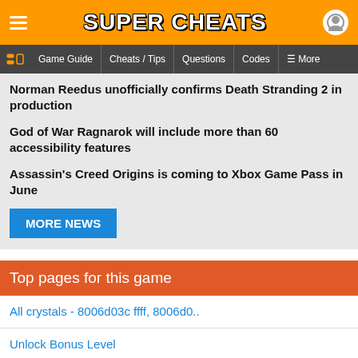SUPER CHEATS
Game Guide | Cheats / Tips | Questions | Codes | More
Norman Reedus unofficially confirms Death Stranding 2 in production
God of War Ragnarok will include more than 60 accessibility features
Assassin's Creed Origins is coming to Xbox Game Pass in June
MORE NEWS
Top pages for this game
All crystals - 8006d03c ffff, 8006d0..
Unlock Bonus Level
How do you get all of the boxes in A..
Does anybody know how to get the box..
How can you make Crash run or walk f..